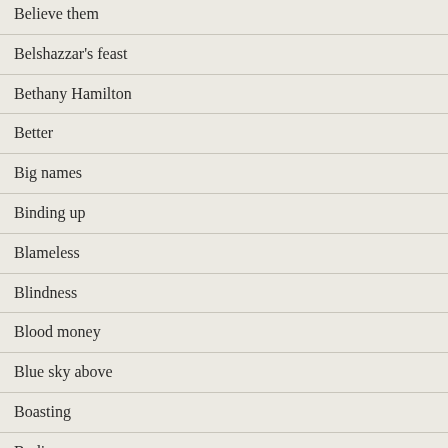Believe them
Belshazzar's feast
Bethany Hamilton
Better
Big names
Binding up
Blameless
Blindness
Blood money
Blue sky above
Boasting
Bodies
Body and soul